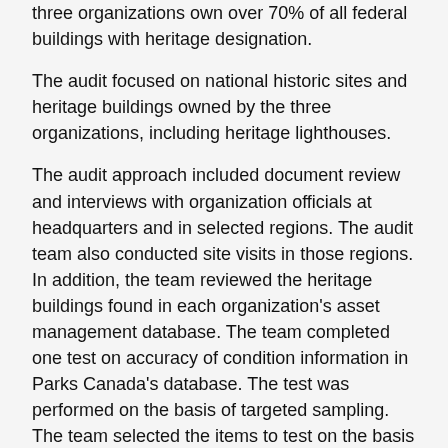three organizations own over 70% of all federal buildings with heritage designation.
The audit focused on national historic sites and heritage buildings owned by the three organizations, including heritage lighthouses.
The audit approach included document review and interviews with organization officials at headquarters and in selected regions. The audit team also conducted site visits in those regions. In addition, the team reviewed the heritage buildings found in each organization's asset management database. The team completed one test on accuracy of condition information in Parks Canada's database. The test was performed on the basis of targeted sampling. The team selected the items to test on the basis of buildings visited during the site visits.
Criteria
To determine whether Parks Canada and selected